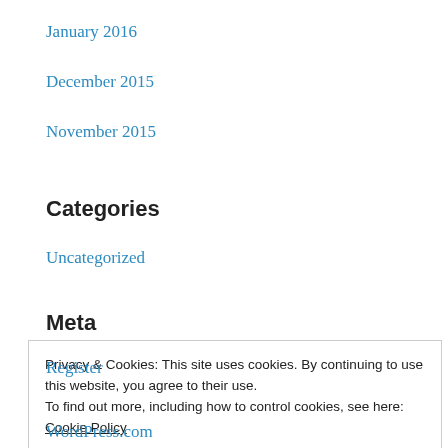January 2016
December 2015
November 2015
Categories
Uncategorized
Meta
Register
Privacy & Cookies: This site uses cookies. By continuing to use this website, you agree to their use.
To find out more, including how to control cookies, see here: Cookie Policy
WordPress.com